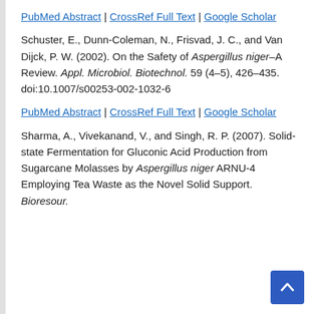PubMed Abstract | CrossRef Full Text | Google Scholar
Schuster, E., Dunn-Coleman, N., Frisvad, J. C., and Van Dijck, P. W. (2002). On the Safety of Aspergillus niger–A Review. Appl. Microbiol. Biotechnol. 59 (4–5), 426–435. doi:10.1007/s00253-002-1032-6
PubMed Abstract | CrossRef Full Text | Google Scholar
Sharma, A., Vivekanand, V., and Singh, R. P. (2007). Solid-state Fermentation for Gluconic Acid Production from Sugarcane Molasses by Aspergillus niger ARNU-4 Employing Tea Waste as the Novel Solid Support. Bioresour. Technol. 98 (N), 2464–...